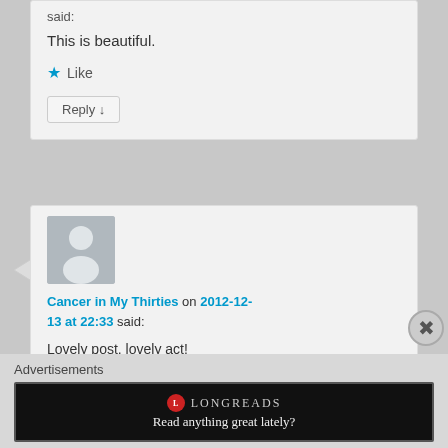said:
This is beautiful.
Like
Reply ↓
[Figure (illustration): Default user avatar silhouette (gray square with white person icon)]
Cancer in My Thirties on 2012-12-13 at 22:33 said:
Lovely post, lovely act! Congratulations on being Freshly
Advertisements
[Figure (screenshot): Longreads advertisement banner: black background with Longreads logo and tagline 'Read anything great lately?']